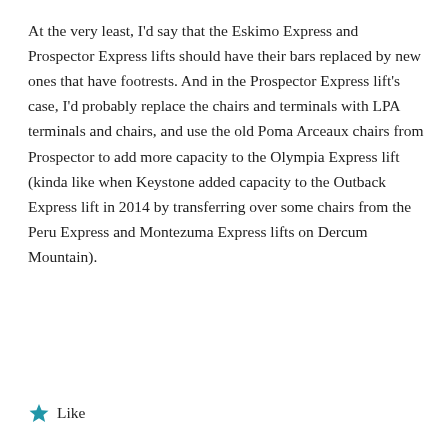At the very least, I'd say that the Eskimo Express and Prospector Express lifts should have their bars replaced by new ones that have footrests. And in the Prospector Express lift's case, I'd probably replace the chairs and terminals with LPA terminals and chairs, and use the old Poma Arceaux chairs from Prospector to add more capacity to the Olympia Express lift (kinda like when Keystone added capacity to the Outback Express lift in 2014 by transferring over some chairs from the Peru Express and Montezuma Express lifts on Dercum Mountain).
★ Like